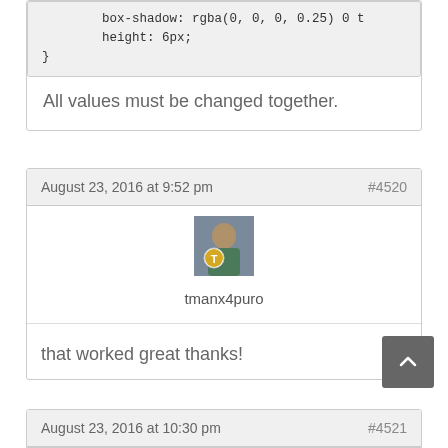box-shadow: rgba(0, 0, 0, 0.25) 0 t
        height: 6px;
}
All values must be changed together.
August 23, 2016 at 9:52 pm
#4520
[Figure (photo): Avatar photo of user tmanx4puro with a gold T badge overlay]
tmanx4puro
that worked great thanks!
August 23, 2016 at 10:30 pm
#4521